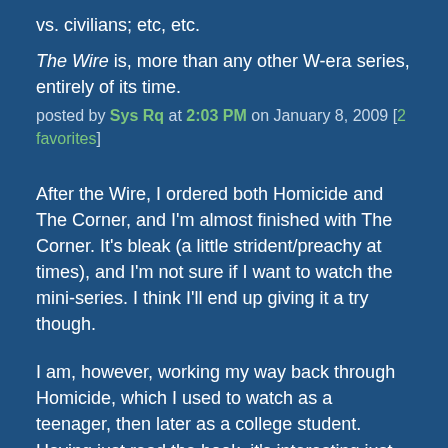vs. civilians; etc, etc.
The Wire is, more than any other W-era series, entirely of its time.
posted by Sys Rq at 2:03 PM on January 8, 2009 [2 favorites]
After the Wire, I ordered both Homicide and The Corner, and I'm almost finished with The Corner. It's bleak (a little strident/preachy at times), and I'm not sure if I want to watch the mini-series. I think I'll end up giving it a try though.
I am, however, working my way back through Homicide, which I used to watch as a teenager, then later as a college student. Having just read the book, it's interesting just how much of just the first couple of episodes is based on the book. I know it says "Based on the book Homicide" but wow. As in "only the names have been changed" kind of stuff. One